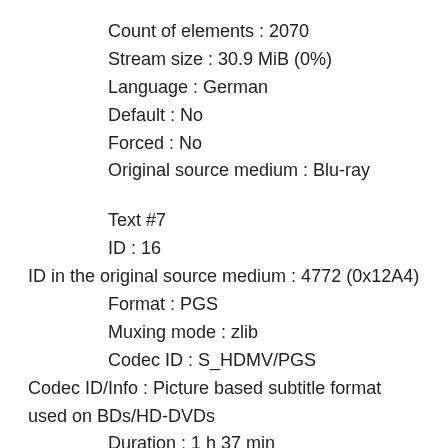Count of elements : 2070
Stream size : 30.9 MiB (0%)
Language : German
Default : No
Forced : No
Original source medium : Blu-ray
Text #7
ID : 16
ID in the original source medium : 4772 (0x12A4)
Format : PGS
Muxing mode : zlib
Codec ID : S_HDMV/PGS
Codec ID/Info : Picture based subtitle format used on BDs/HD-DVDs
Duration : 1 h 37 min
Bit rate : 37.4 kb/s